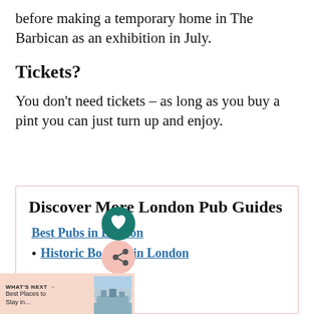before making a temporary home in The Barbican as an exhibition in July.
Tickets?
You don’t need tickets – as long as you buy a pint you can just turn up and enjoy.
Discover More London Pub Guides
Best Pubs in London
Historic Boozers in London
[Figure (infographic): What's Next promotional banner with circular photo thumbnail showing a London cityscape, alongside text 'WHAT'S NEXT → Best Places to Stay in...']
[Figure (other): Social media floating buttons: teal heart icon button and pink share/network icon button]